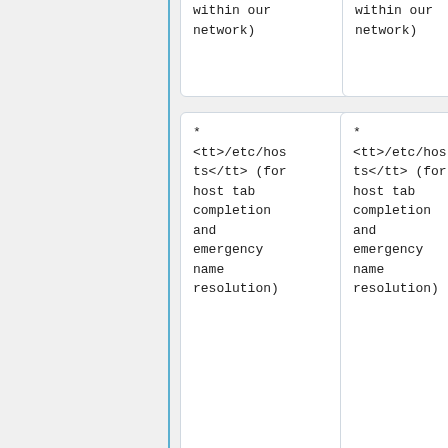within our network)
within our network)
* <tt>/etc/hosts</tt> (for host tab completion and emergency name resolution)
* <tt>/etc/hosts</tt> (for host tab completion and emergency name resolution)
* <tt>/etc/resolv.conf</tt> (to use IST's nameservers and search csclub/uwaterloo domains